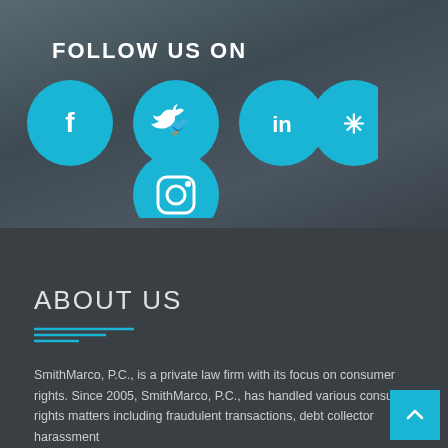FOLLOW US ON
[Figure (illustration): Five social media icon circles in teal/cyan color: Facebook, Twitter, LinkedIn, Yelp in a row, and Instagram below centered. All icons are white on teal circular backgrounds.]
ABOUT US
[Figure (illustration): Teal decorative horizontal line divider with varying line lengths.]
SmithMarco, P.C., is a private law firm with its focus on consumer rights. Since 2005, SmithMarco, P.C., has handled various consumer rights matters including fraudulent transactions, debt collector harassment